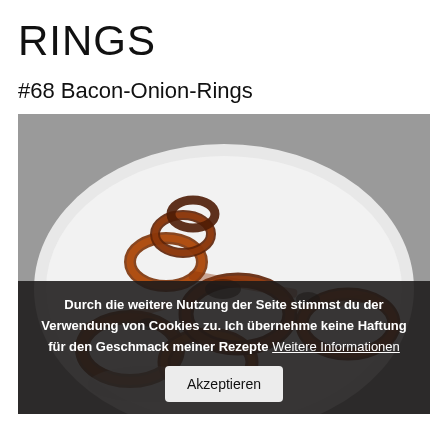RINGS
#68 Bacon-Onion-Rings
[Figure (photo): A white plate piled with bacon-wrapped onion rings, grilled and caramelized, on a grey stone surface. A cookie consent overlay appears at the bottom of the image with text and an Akzeptieren button.]